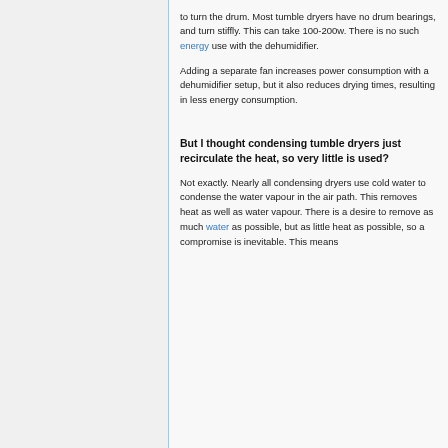to turn the drum. Most tumble dryers have no drum bearings, and turn stiffly. This can take 100-200w. There is no such energy use with the dehumidifier.
Adding a separate fan increases power consumption with a dehumidifier setup, but it also reduces drying times, resulting in less energy consumption.
But I thought condensing tumble dryers just recirculate the heat, so very little is used?
Not exactly. Nearly all condensing dryers use cold water to condense the water vapour in the air path. This removes heat as well as water vapour. There is a desire to remove as much water as possible, but as little heat as possible, so a compromise is inevitable. This means